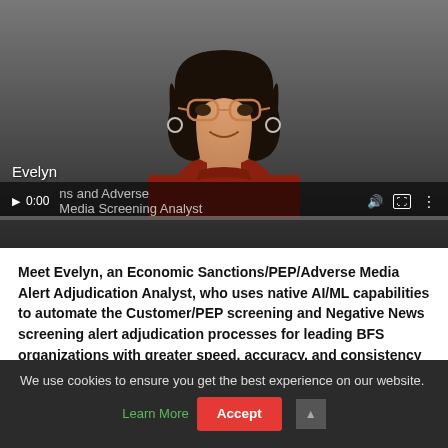[Figure (screenshot): Video player showing a woman named Evelyn wearing glasses and a red turtleneck sweater, with video controls showing 0:00 timestamp and text overlay reading 'Sanctions and Adverse Media Screening Analyst']
Meet Evelyn, an Economic Sanctions/PEP/Adverse Media Alert Adjudication Analyst, who uses native AI/ML capabilities to automate the Customer/PEP screening and Negative News screening alert adjudication processes for leading BFS organizations with greater speed, accuracy, and consistency than human analysts.
We use cookies to ensure you get the best experience on our website. Learn More  Accept